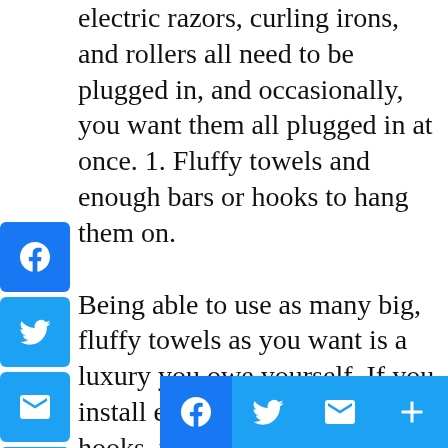electric razors, curling irons, and rollers all need to be plugged in, and occasionally, you want them all plugged in at once. 1. Fluffy towels and enough bars or hooks to hang them on. Being able to use as many big, fluffy towels as you want is a luxury you owe yourself. If you install enough towel bars or hooks, your housemates and guests might actually consider using them. 10. Candles. These wax wonders are great to have on hand when you want to indulge in a luxurious soak. Media FILE. Filing cabinets are a necessary evil, and usually these metal ones aren't pretty. Place same-size cabinets